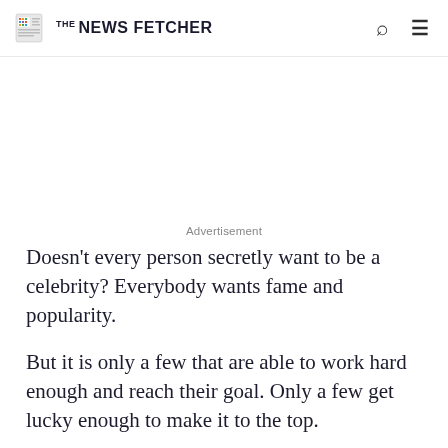THE NEWS FETCHER
Advertisement
Doesn’t every person secretly want to be a celebrity? Everybody wants fame and popularity.
But it is only a few that are able to work hard enough and reach their goal. Only a few get lucky enough to make it to the top.
Only a few get to live the dream of being known in every corner of the world.